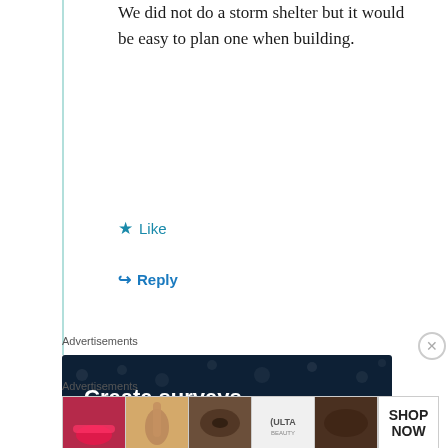We did not do a storm shelter but it would be easy to plan one when building.
★ Like
↪ Reply
Advertisements
[Figure (other): Advertisement banner with dark navy background and dot pattern. Text reads: Create surveys, polls, quizzes, and forms. Pink rounded button: Start now.]
Advertisements
[Figure (other): Bottom advertisement strip showing beauty/makeup images and ULTA logo with SHOP NOW text.]